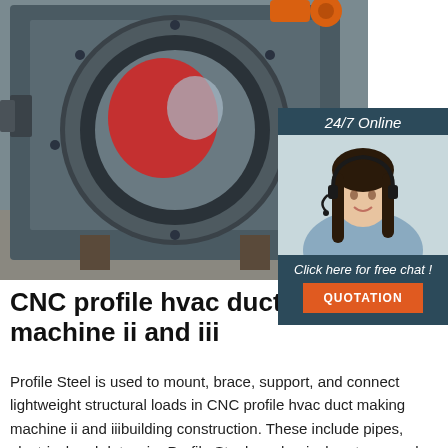[Figure (photo): Industrial CNC machine with a large circular opening/drum, metallic housing in grey/blue tones, with an orange mechanical arm visible at top right. Red disc visible inside the circular opening.]
[Figure (photo): Customer support widget showing a woman wearing a headset smiling, with '24/7 Online' header, 'Click here for free chat!' text, and an orange QUOTATION button on dark blue background.]
CNC profile hvac duct making machine ii and iii
Profile Steel is used to mount, brace, support, and connect lightweight structural loads in CNC profile hvac duct making machine ii and iiibuilding construction. These include pipes, electrical and data wire Profile Steel mechanical systems such